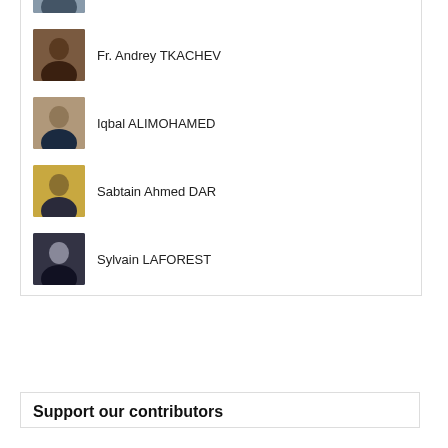Nafeez AHMED
Fr. Andrey TKACHEV
Iqbal ALIMOHAMED
Sabtain Ahmed DAR
Sylvain LAFOREST
Support our contributors